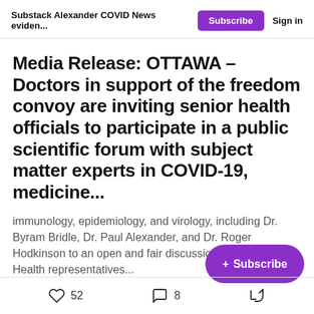Substack Alexander COVID News eviden... Subscribe Sign in
Media Release: OTTAWA – Doctors in support of the freedom convoy are inviting senior health officials to participate in a public scientific forum with subject matter experts in COVID-19, medicine...
immunology, epidemiology, and virology, including Dr. Byram Bridle, Dr. Paul Alexander, and Dr. Roger Hodkinson to an open and fair discussion, with senior Health representatives...
52 likes  8 comments  share